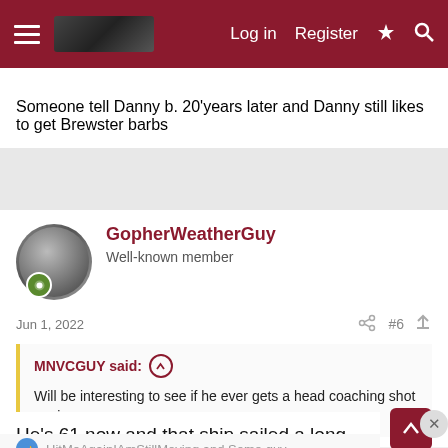[Figure (screenshot): Forum navigation bar with hamburger menu, logo, Login, Register, lightning bolt, and search icons on dark red background]
Someone tell Danny b. 20'years later and Danny still likes to get Brewster barbs
GopherWeatherGuy
Well-known member
Jun 1, 2022
#6
MNVCGUY said:
Will be interesting to see if he ever gets a head coaching shot again.
He's 61 now and that ship sailed a long time ago
HitMeAgainIAmStillMoving and Some guy